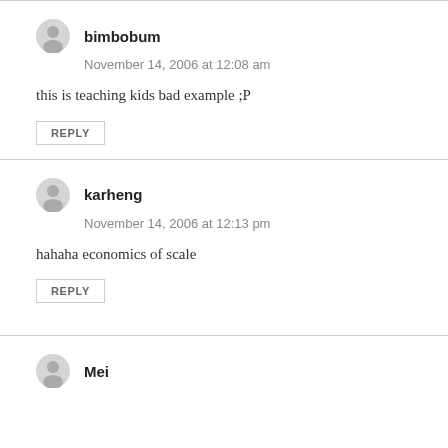bimbobum
November 14, 2006 at 12:08 am
this is teaching kids bad example ;P
REPLY
karheng
November 14, 2006 at 12:13 pm
hahaha economics of scale
REPLY
Mei